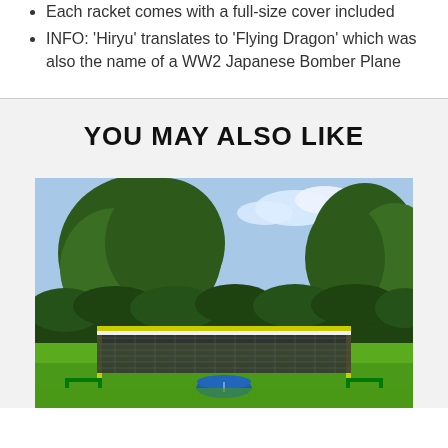Each racket comes with a full-size cover included
INFO: 'Hiryu' translates to 'Flying Dragon' which was also the name of a WW2 Japanese Bomber Plane
YOU MAY ALSO LIKE
[Figure (photo): Outdoor badminton net set up on a grass lawn with trees and hedges in the background, and a blue carry bag visible at the base of the net. The net frame is yellow/lime green.]